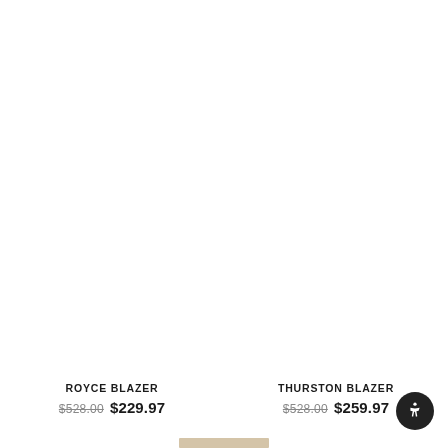[Figure (photo): Product image area for Royce Blazer (white/blank)]
ROYCE BLAZER
$528.00  $229.97
[Figure (photo): Product image area for Thurston Blazer (white/blank)]
THURSTON BLAZER
$528.00  $259.97